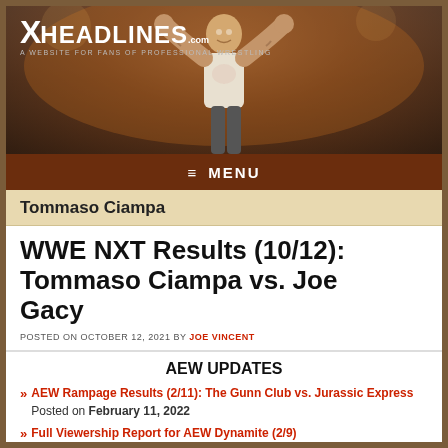[Figure (photo): XHeadlines.com website banner with wrestler (CM Punk) celebrating with arms raised, wearing white t-shirt with tattoos visible, crowd in background]
XHEADLINES.com — A WEBSITE FOR FANS OF PROFESSIONAL WRESTLING
≡  MENU
Tommaso Ciampa
WWE NXT Results (10/12): Tommaso Ciampa vs. Joe Gacy
POSTED ON OCTOBER 12, 2021 BY JOE VINCENT
AEW UPDATES
AEW Rampage Results (2/11): The Gunn Club vs. Jurassic Express
Posted on February 11, 2022
Full Viewership Report for AEW Dynamite (2/9)
Posted on February 10, 2022